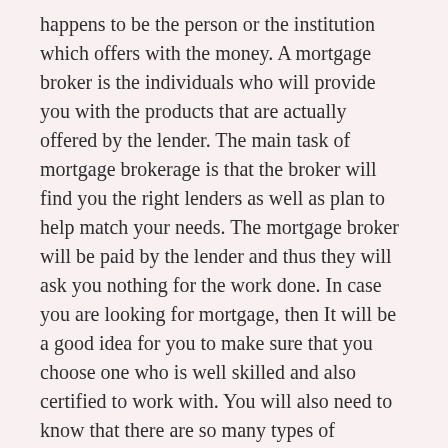happens to be the person or the institution which offers with the money. A mortgage broker is the individuals who will provide you with the products that are actually offered by the lender. The main task of mortgage brokerage is that the broker will find you the right lenders as well as plan to help match your needs. The mortgage broker will be paid by the lender and thus they will ask you nothing for the work done. In case you are looking for mortgage, then It will be a good idea for you to make sure that you choose one who is well skilled and also certified to work with. You will also need to know that there are so many types of mortgage brokers out there offering the services and thus choosing the right one to work with will not be an easy task.
It is not all the mortgage brokers who are good and in the right position to provide you with the best services. note that there are some mortgage brokers who are